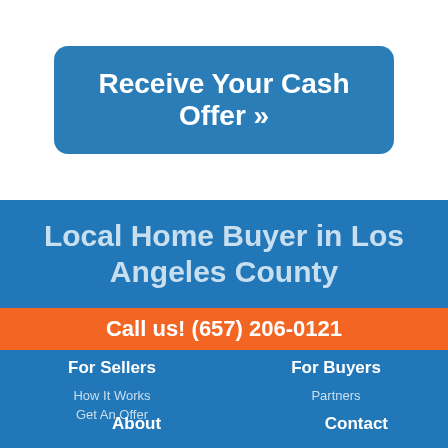Receive Your Cash Offer »
Local Home Buyer in Los Angeles County
Call us! (657) 206-0121
For Sellers
For Buyers
How It Works
Partners
Get An Offer
About
Contact